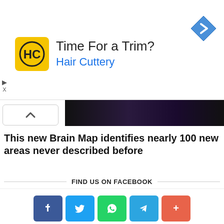[Figure (other): Hair Cuttery advertisement banner with logo, 'Time For a Trim?' headline, and navigation arrow icon]
[Figure (photo): Dark image strip showing partial brain imagery in dark purple/black tones]
This new Brain Map identifies nearly 100 new areas never described before
FIND US ON FACEBOOK
RECOMMENDED
[Figure (other): Social share bar with Facebook, Twitter, WhatsApp, Telegram, and More (+) buttons]